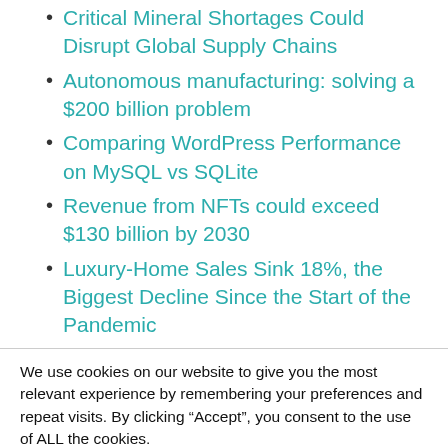Critical Mineral Shortages Could Disrupt Global Supply Chains
Autonomous manufacturing: solving a $200 billion problem
Comparing WordPress Performance on MySQL vs SQLite
Revenue from NFTs could exceed $130 billion by 2030
Luxury-Home Sales Sink 18%, the Biggest Decline Since the Start of the Pandemic
We use cookies on our website to give you the most relevant experience by remembering your preferences and repeat visits. By clicking “Accept”, you consent to the use of ALL the cookies.
Do not sell my personal information.